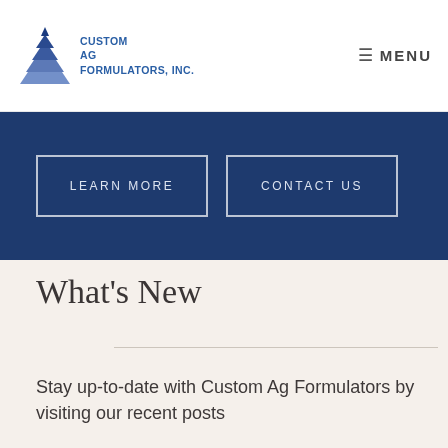Custom Ag Formulators, Inc. — MENU
[Figure (logo): Custom Ag Formulators, Inc. logo with blue pyramid/triangle stacked layers icon and company name text]
LEARN MORE
CONTACT US
What’s New
Stay up-to-date with Custom Ag Formulators by visiting our recent posts